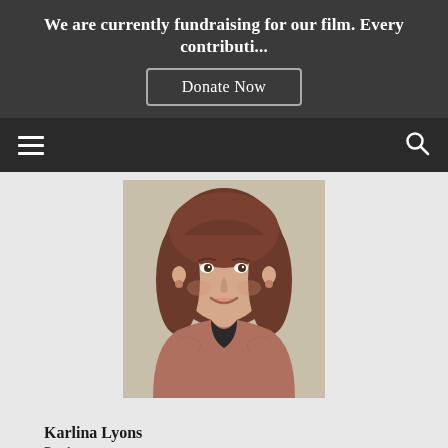We are currently fundraising for our film. Every contributi...
Donate Now
[Figure (photo): Headshot of Karlina Lyons, a woman with curly reddish-brown hair, wearing a dusty rose cardigan over a black top, smiling at the camera against a light beige background.]
Karlina Lyons
Producer